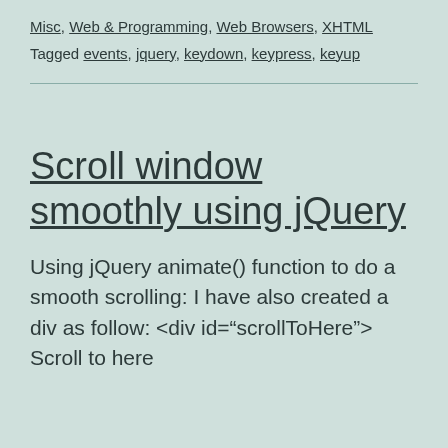Misc, Web & Programming, Web Browsers, XHTML
Tagged events, jquery, keydown, keypress, keyup
Scroll window smoothly using jQuery
Using jQuery animate() function to do a smooth scrolling: I have also created a div as follow: <div id="scrollToHere"> Scroll to here